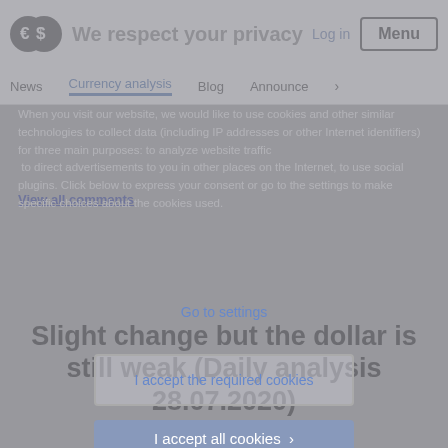We respect your privacy
News  Currency analysis  Blog  Announce
When you visit our website, we would like to use cookies and other similar technologies to collect data (including IP addresses or other Internet identifiers) for three main purposes: to analyze website traffic, to direct advertisements to you in other places on the Internet, to use social plugins. Click below to express your consent or go to the settings to make specific choices about the cookies used.
View all comments
Go to settings
Slight change but the dollar is still weak (Daily analysis 28.07.2020)
I accept the required cookies
I accept all cookies >